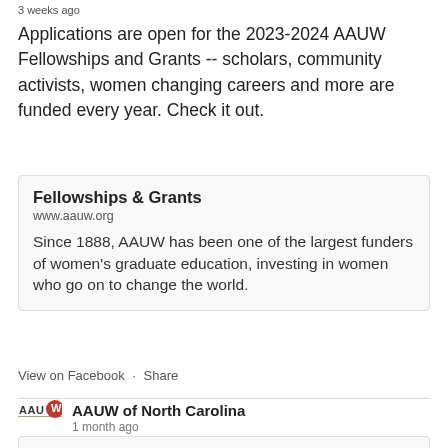3 weeks ago
Applications are open for the 2023-2024 AAUW Fellowships and Grants -- scholars, community activists, women changing careers and more are funded every year. Check it out.
Fellowships & Grants
www.aauw.org
Since 1888, AAUW has been one of the largest funders of women's graduate education, investing in women who go on to change the world.
View on Facebook  ·  Share
AAUW of North Carolina
1 month ago
Boomers hate to talk about pay, but 81% of Gen Z